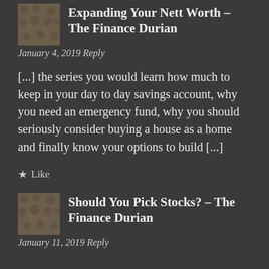Expanding Your Nett Worth – The Finance Durian
January 4, 2019 Reply
[...] the series you would learn how much to keep in your day to day savings account, why you need an emergency fund, why you should seriously consider buying a house as a home and finally know your options to build [...]
★ Like
[Figure (photo): Thumbnail image of durian fruit texture]
Should You Pick Stocks? – The Finance Durian
January 11, 2019 Reply